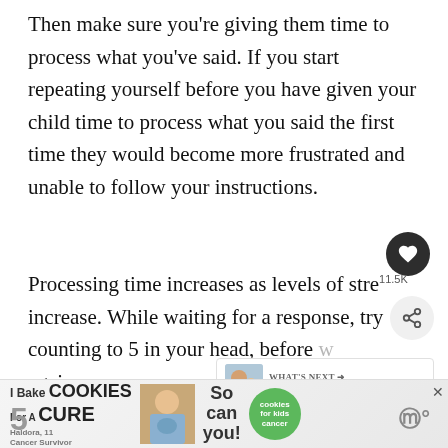Then make sure you're giving them time to process what you've said. If you start repeating yourself before you have given your child time to process what you said the first time they would become more frustrated and unable to follow your instructions.
Processing time increases as levels of stress increase. While waiting for a response, try counting to 5 in your head, before speaking again.
[Figure (screenshot): Advertisement banner: I Bake COOKIES For A CURE with photo of child and green cookies for kids cancer circle logo]